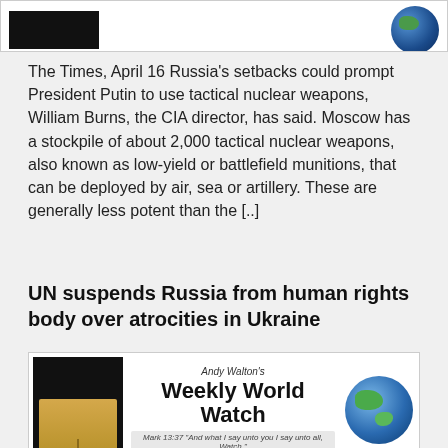[Figure (other): Weekly World Watch banner header with black rectangle on left and globe on right]
The Times, April 16 Russia's setbacks could prompt President Putin to use tactical nuclear weapons, William Burns, the CIA director, has said. Moscow has a stockpile of about 2,000 tactical nuclear weapons, also known as low-yield or battlefield munitions, that can be deployed by air, sea or artillery. These are generally less potent than the [..]
UN suspends Russia from human rights body over atrocities in Ukraine
[Figure (other): Andy Walton's Weekly World Watch banner with bible image on left, title in center, globe on right, and verse Mark 13:37 below]
Event: The United Nations general assembly has voted to suspend Russia from the human rights council after images of atrocities apparently showing civilians left dead in the streets with their hands bound emerged following Russian troops' withdrawal from around Kyiv. The call for Russia's removal from the UN's top human rights